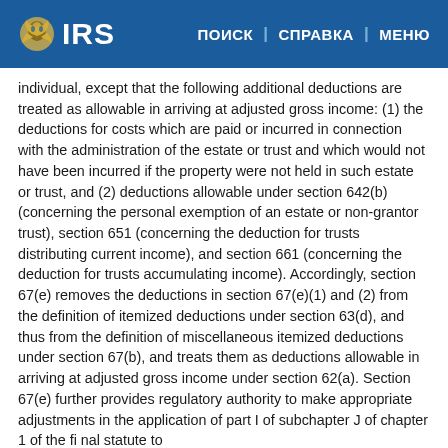IRS | ПОИСК | СПРАВКА | МЕНЮ
individual, except that the following additional deductions are treated as allowable in arriving at adjusted gross income: (1) the deductions for costs which are paid or incurred in connection with the administration of the estate or trust and which would not have been incurred if the property were not held in such estate or trust, and (2) deductions allowable under section 642(b) (concerning the personal exemption of an estate or non-grantor trust), section 651 (concerning the deduction for trusts distributing current income), and section 661 (concerning the deduction for trusts accumulating income). Accordingly, section 67(e) removes the deductions in section 67(e)(1) and (2) from the definition of itemized deductions under section 63(d), and thus from the definition of miscellaneous itemized deductions under section 67(b), and treats them as deductions allowable in arriving at adjusted gross income under section 62(a). Section 67(e) further provides regulatory authority to make appropriate adjustments in the application of part I of subchapter J of chapter 1 of the final statute to...